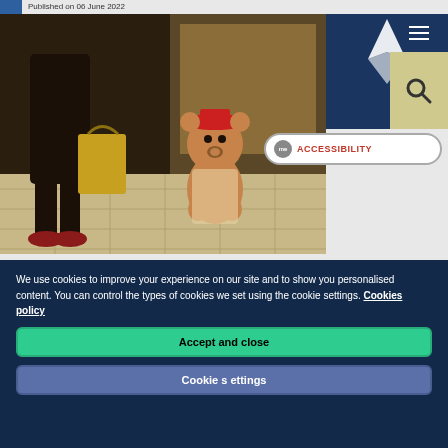Published on 06 June 2022
[Figure (photo): A scene showing a small bear (Paddington-style) wearing a red hat sitting on a tiled floor, with a person standing nearby holding a shopping bag.]
A North East academic has discovered that
We use cookies to improve your experience on our site and to show you personalised content. You can control the types of cookies we set using the cookie settings. Cookies policy
Accept and close
Cookie settings